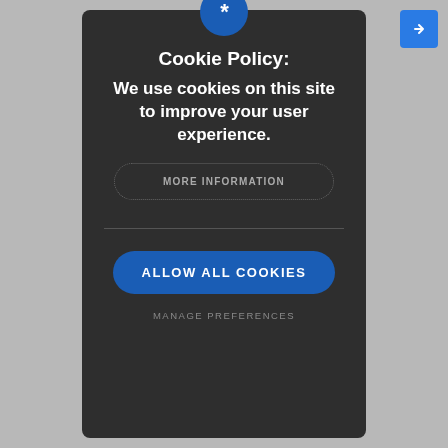[Figure (screenshot): Cookie consent modal dialog on a dark background. Contains a blue asterisk icon circle at top, title 'Cookie Policy:', body text 'We use cookies on this site to improve your user experience.', a dotted-border 'MORE INFORMATION' button, a horizontal divider, a blue 'ALLOW ALL COOKIES' button, and 'MANAGE PREFERENCES' text link below.]
Cookie Policy:
We use cookies on this site to improve your user experience.
MORE INFORMATION
ALLOW ALL COOKIES
MANAGE PREFERENCES